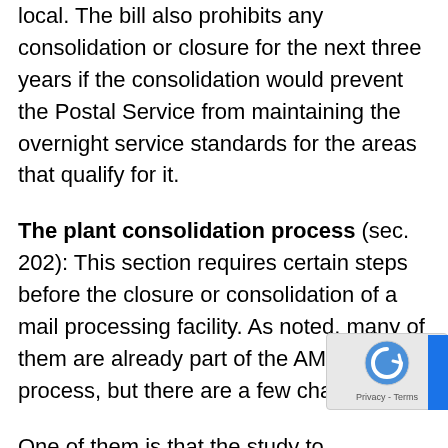local.  The bill also prohibits any consolidation or closure for the next three years if the consolidation would prevent the Postal Service from maintaining the overnight service standards for the areas that qualify for it.
The plant consolidation process (sec. 202): This section requires certain steps before the closure or consolidation of a mail processing facility.  As noted, many of them are already part of the AMP study process, but there are a few changes.
One of them is that the study to consolidate the plant would need to be published before the public comment period.  Under current procedures, the public only sees the study after it's been completed and then only in a heavily redacted form.  Many people have complained that they can't respond to